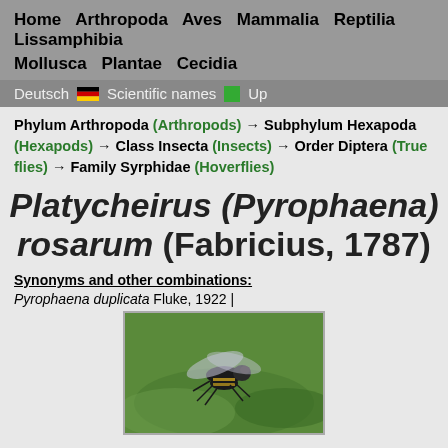Home  Arthropoda  Aves  Mammalia  Reptilia  Lissamphibia  Mollusca  Plantae  Cecidia
Deutsch  Scientific names  Up
Phylum Arthropoda (Arthropods) → Subphylum Hexapoda (Hexapods) → Class Insecta (Insects) → Order Diptera (True flies) → Family Syrphidae (Hoverflies)
Platycheirus (Pyrophaena) rosarum (Fabricius, 1787)
Synonyms and other combinations:
Pyrophaena duplicata Fluke, 1922 |
[Figure (photo): Photo of Platycheirus (Pyrophaena) rosarum hoverfly on green leaf background]